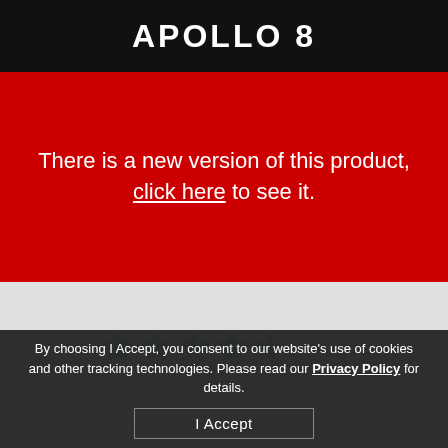APOLLO 8
There is a new version of this product, click here to see it.
[Figure (other): Star rating: 4.5 out of 5 stars, (476) reviews]
Customer Reviews
By choosing I Accept, you consent to our website's use of cookies and other tracking technologies. Please read our Privacy Policy for details.
I Accept